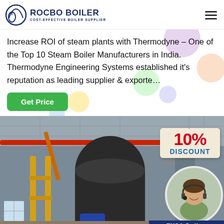ROCBO BOILER — COST-EFFECTIVE BOILER SUPPLIER
Increase ROI of steam plants with Thermodyne – One of the Top 10 Steam Boiler Manufacturers in India. Thermodyne Engineering Systems established it's reputation as leading supplier & exporte…
Get Price
[Figure (photo): Industrial boiler room with large cylindrical boilers, yellow scaffolding, red piping and steel framework. Overlay shows a 10% DISCOUNT badge and a customer service advisor (woman with headset) in a circular frame. Bottom right shows '7X24 Online' text.]